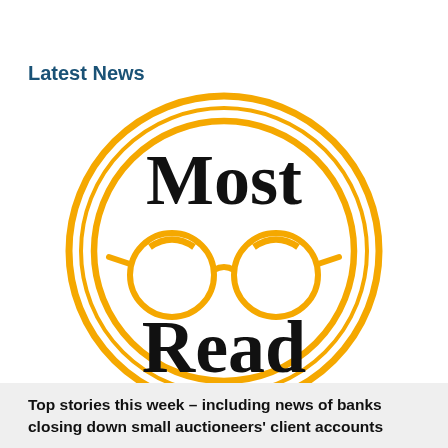Latest News
[Figure (logo): Most Read logo: two concentric golden circles with 'Most Read' text in bold black and a pair of round golden glasses in the center]
Top stories this week – including news of banks closing down small auctioneers' client accounts